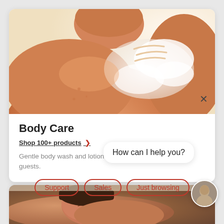[Figure (photo): Close-up photo of a person washing their shoulder with soapy lather, warm skin tones]
Body Care
Shop 100+ products >
Gentle body wash and lotion formulations that pamper guests.
How can I help you?
Support
Sales
Just browsing
[Figure (photo): Partial view of a person receiving a massage or spa treatment]